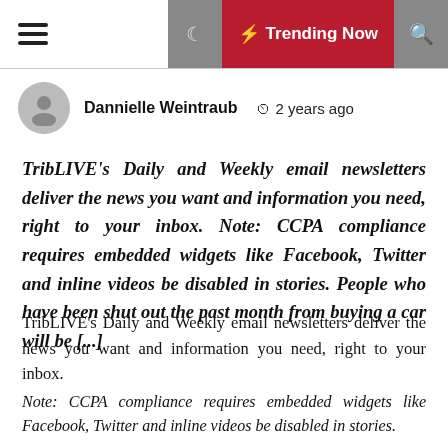≡  ☽  ⚡ Trending Now  🔍
Dannielle Weintraub  🕐 2 years ago
TribLIVE's Daily and Weekly email newsletters deliver the news you want and information you need, right to your inbox. Note: CCPA compliance requires embedded widgets like Facebook, Twitter and inline videos be disabled in stories. People who have been shut out the past month from buying a car will be [...]
TribLIVE's Daily and Weekly email newsletters deliver the news you want and information you need, right to your inbox.
Note: CCPA compliance requires embedded widgets like Facebook, Twitter and inline videos be disabled in stories.